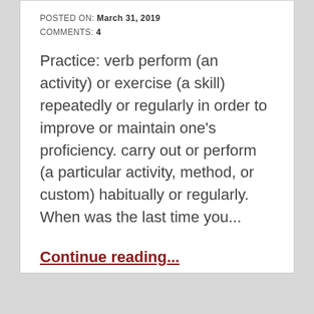POSTED ON: March 31, 2019
COMMENTS: 4
Practice: verb perform (an activity) or exercise (a skill) repeatedly or regularly in order to improve or maintain one's proficiency. carry out or perform (a particular activity, method, or custom) habitually or regularly.   When was the last time you...
Continue reading...